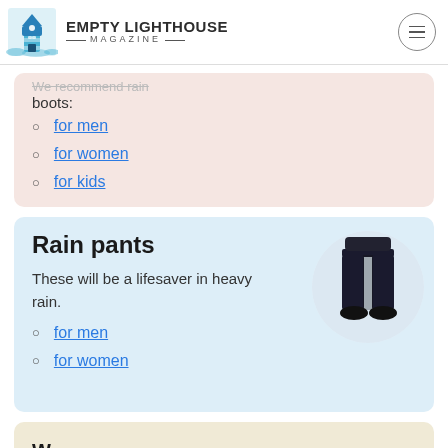EMPTY LIGHTHOUSE MAGAZINE
We recommend rain boots:
for men
for women
for kids
Rain pants
These will be a lifesaver in heavy rain.
[Figure (photo): Person wearing black rain pants and black shoes, lower body only, circular crop]
for men
for women
W...